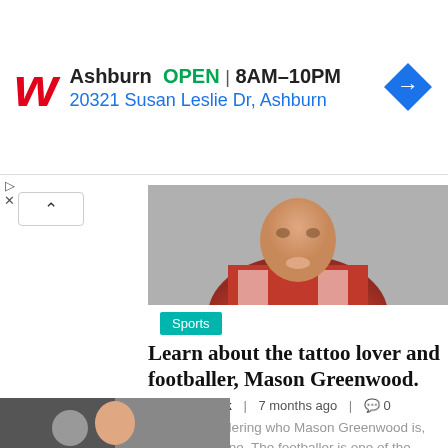[Figure (screenshot): Walgreens advertisement banner showing logo, Ashburn location, OPEN status, hours 8AM-10PM, address 20321 Susan Leslie Dr Ashburn, and navigation arrow icon]
Ashburn  OPEN  8AM–10PM
20321 Susan Leslie Dr, Ashburn
[Figure (photo): Photo of Mason Greenwood, footballer, smiling, wearing red and white jersey]
Sports
Learn about the tattoo lover and footballer, Mason Greenwood.
Content Desk | 7 months ago | 0
If you're wondering who Mason Greenwood is, you're not alone. The footballer is one of the world's most well-known athletes....